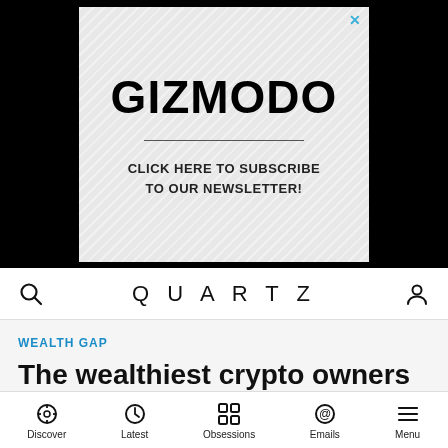[Figure (other): Gizmodo advertisement banner with diagonal pattern background, bold GIZMODO logo, horizontal rule, and text CLICK HERE TO SUBSCRIBE TO OUR NEWSLETTER! with close X button]
QUARTZ
WEALTH GAP
The wealthiest crypto owners don't spend it
Discover  Latest  Obsessions  Emails  Menu